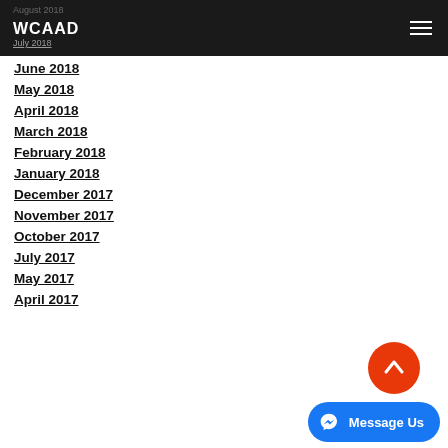WCAAD
August 2018
July 2018
June 2018
May 2018
April 2018
March 2018
February 2018
January 2018
December 2017
November 2017
October 2017
July 2017
May 2017
April 2017